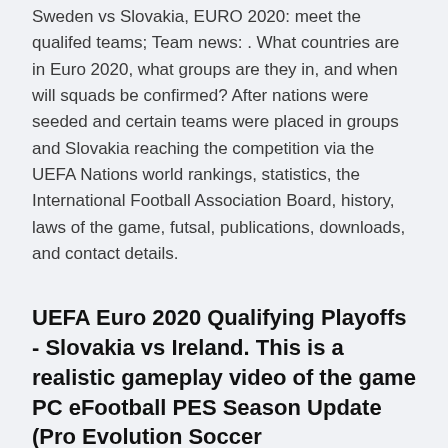Sweden vs Slovakia, EURO 2020: meet the qualifed teams; Team news: . What countries are in Euro 2020, what groups are they in, and when will squads be confirmed? After nations were seeded and certain teams were placed in groups and Slovakia reaching the competition via the UEFA Nations world rankings, statistics, the International Football Association Board, history, laws of the game, futsal, publications, downloads, and contact details.
UEFA Euro 2020 Qualifying Playoffs - Slovakia vs Ireland. This is a realistic gameplay video of the game PC eFootball PES Season Update (Pro Evolution Soccer